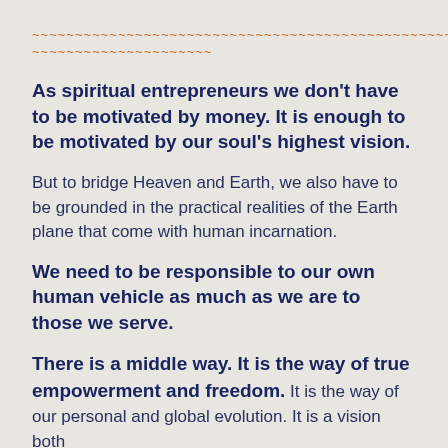~~~~~~~~~~~~~~~~~~~~~~~~~~~~~~~~~~~~~~~~~~~~~~~~~~~~~~~~~~~~~~~~
~~~~~~~~~~~~~~~~~~~~~
As spiritual entrepreneurs we don't have to be motivated by money. It is enough to be motivated by our soul's highest vision.
But to bridge Heaven and Earth, we also have to be grounded in the practical realities of the Earth plane that come with human incarnation.
We need to be responsible to our own human vehicle as much as we are to those we serve.
There is a middle way. It is the way of true empowerment and freedom. It is the way of our personal and global evolution. It is a vision both